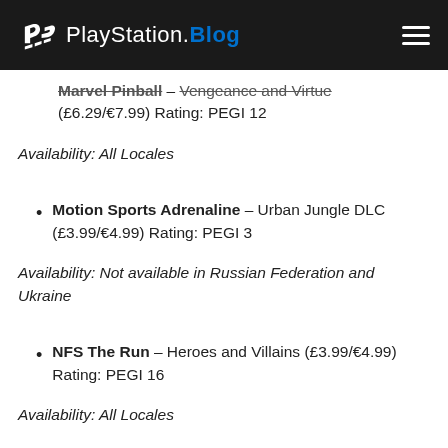PlayStation.Blog
Marvel Pinball – Vengeance and Virtue (£6.29/€7.99) Rating: PEGI 12
Availability: All Locales
Motion Sports Adrenaline – Urban Jungle DLC (£3.99/€4.99) Rating: PEGI 3
Availability: Not available in Russian Federation and Ukraine
NFS The Run – Heroes and Villains (£3.99/€4.99) Rating: PEGI 16
Availability: All Locales